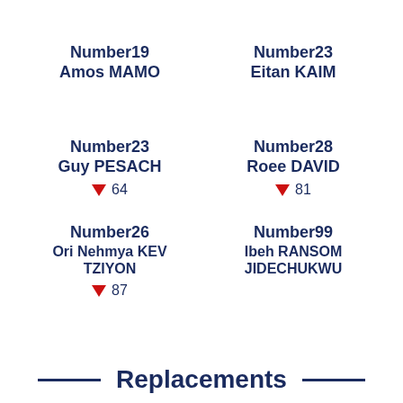Number19
Amos MAMO
Number23
Eitan KAIM
Number23
Guy PESACH
↓ 64
Number28
Roee DAVID
↓ 81
Number26
Ori Nehmya KEV TZIYON
↓ 87
Number99
Ibeh RANSOM JIDECHUKWU
Replacements